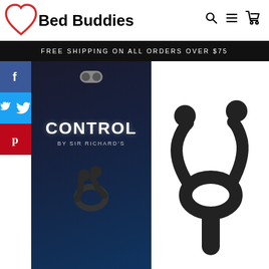[Figure (logo): Bed Buddies logo with red heart outline and bold black text]
[Figure (infographic): Navigation icons: search magnifier, hamburger menu, shopping cart]
FREE SHIPPING ON ALL ORDERS OVER $75
[Figure (infographic): Social media buttons: Facebook (blue), Twitter (blue), Pinterest (red)]
[Figure (photo): Product image showing Control by Sir Richard's cock ring in black packaging and close-up product shot on white background]